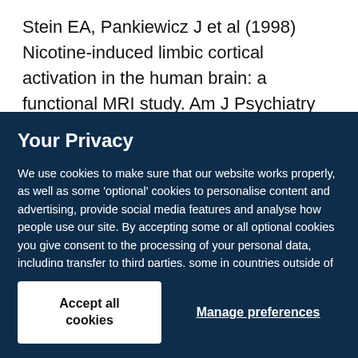Stein EA, Pankiewicz J et al (1998) Nicotine-induced limbic cortical activation in the human brain: a functional MRI study. Am J Psychiatry
Your Privacy
We use cookies to make sure that our website works properly, as well as some 'optional' cookies to personalise content and advertising, provide social media features and analyse how people use our site. By accepting some or all optional cookies you give consent to the processing of your personal data, including transfer to third parties, some in countries outside of the European Economic Area that do not offer the same data protection standards as the country where you live. You can decide which optional cookies to accept by clicking on 'Manage Settings', where you can also find more information about how your personal data is processed. Further information can be found in our privacy policy.
Accept all cookies
Manage preferences